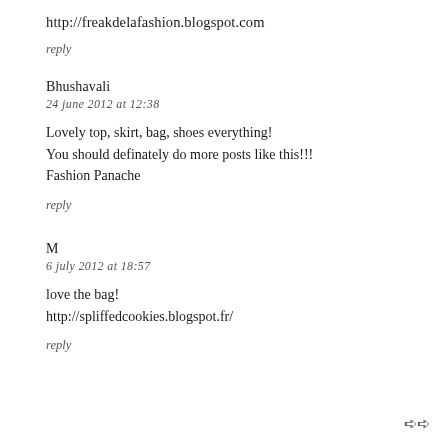http://freakdelafashion.blogspot.com
reply
Bhushavali
24 june 2012 at 12:38
Lovely top, skirt, bag, shoes everything!
You should definately do more posts like this!!!
Fashion Panache
reply
M
6 july 2012 at 18:57
love the bag!
http://spliffedcookies.blogspot.fr/
reply